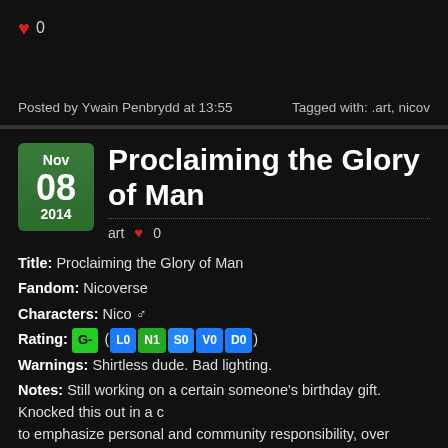♥ 0
Posted by Ywain Penbrydd at 13:55   Tagged with: .art, nicov…
Proclaiming the Glory of Man
art ♥ 0
Nov 08 2014
Title: Proclaiming the Glory of Man
Fandom: Nicoverse
Characters: Nico ♂
Rating: G- (L0 N1 S0 V0 D0)
Warnings: Shirtless dude. Bad lighting.
Notes: Still working on a certain someone's birthday gift. Knocked this out in a c… to emphasize personal and community responsibility, over divine intervention. D… population's a couple hundred million, but a little less viable when you get up int… mouth in the courtyard of a church, in natural light and heavenly glow versions. Go tell dad to knock it off, will you?)